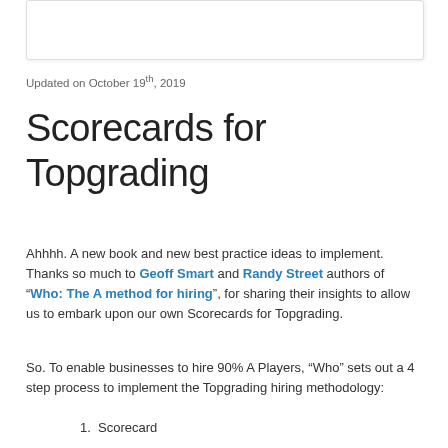[Figure (other): White rectangular image placeholder with border and shadow at top of page]
Updated on October 19th, 2019
Scorecards for Topgrading
Ahhhh. A new book and new best practice ideas to implement. Thanks so much to Geoff Smart and Randy Street authors of “Who: The A method for hiring”, for sharing their insights to allow us to embark upon our own Scorecards for Topgrading.
So. To enable businesses to hire 90% A Players, “Who” sets out a 4 step process to implement the Topgrading hiring methodology:
Scorecard